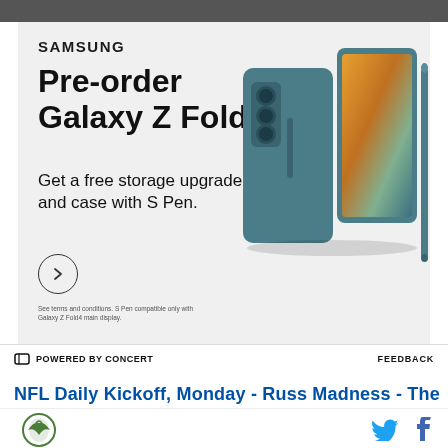[Figure (photo): Dark top strip image (partial photo at top of page)]
[Figure (infographic): Samsung Galaxy Z Fold4 advertisement. Shows Samsung logo, pre-order headline, promotional text about free storage upgrade and case with S Pen, arrow/CTA button, fine print disclaimer, and product photo of teal Galaxy Z Fold4 with S Pen.]
POWERED BY CONCERT   FEEDBACK
NFL Daily Kickoff, Monday - Russ Madness - The
[Figure (logo): Publication eagle logo bottom left]
[Figure (other): Twitter and Facebook social icons bottom right]